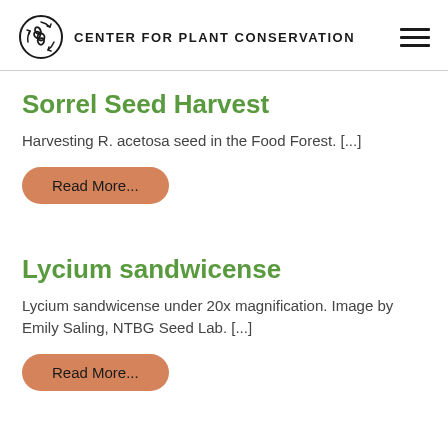CENTER FOR PLANT CONSERVATION
Sorrel Seed Harvest
Harvesting R. acetosa seed in the Food Forest. [...]
Read More...
Lycium sandwicense
Lycium sandwicense under 20x magnification. Image by Emily Saling, NTBG Seed Lab. [...]
Read More...